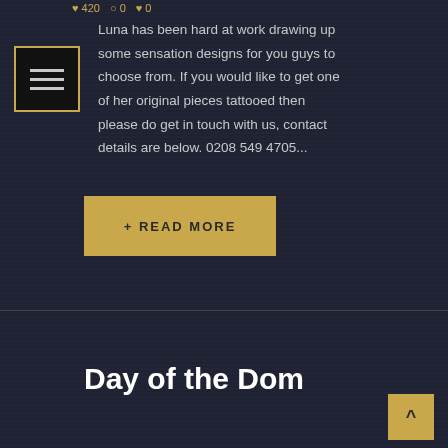[Figure (other): Menu/hamburger icon box with gold border and three white horizontal lines on black background]
Luna has been hard at work drawing up some sensation designs for you guys to choose from. If you would like to get one of her original pieces tattooed then please do get in touch with us, contact details are below. 0208 549 4705...
+ READ MORE
Day of the Dom